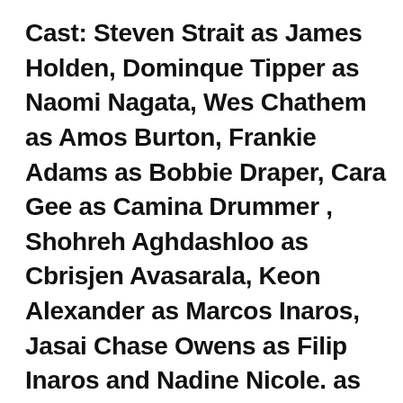Cast: Steven Strait as James Holden, Dominque Tipper as Naomi Nagata, Wes Chathem as Amos Burton, Frankie Adams as Bobbie Draper, Cara Gee as Camina Drummer , Shohreh Aghdashloo as Cbrisjen Avasarala, Keon Alexander as Marcos Inaros, Jasai Chase Owens as Filip Inaros and Nadine Nicole. as Claire Mao. Cas Anvar will not return as Martian pilot Alex Kamal.